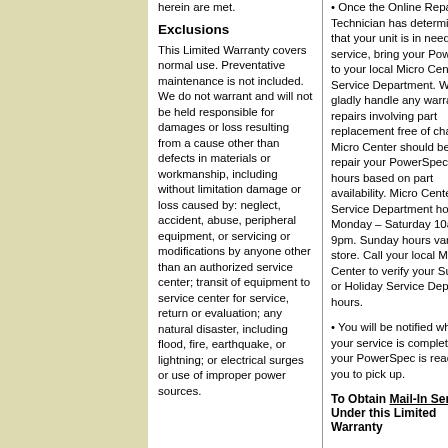herein are met.
Exclusions
This Limited Warranty covers normal use. Preventative maintenance is not included. We do not warrant and will not be held responsible for damages or loss resulting from a cause other than defects in materials or workmanship, including without limitation damage or loss caused by: neglect, accident, abuse, peripheral equipment, or servicing or modifications by anyone other than an authorized service center; transit of equipment to service center for service, return or evaluation; any natural disaster, including flood, fire, earthquake, or lightning; or electrical surges or use of improper power sources.
• Once the Online Repair Technician has determined that your unit is in need of service, bring your PowerSpec to your local Micro Center Service Department. We will gladly handle any warranty repairs involving part replacement free of charge. Micro Center should be able to repair your PowerSpec in 48 hours based on part availability. Micro Center Service Department hours are Monday – Saturday 10am to 9pm. Sunday hours vary by store. Call your local Micro Center to verify your Sunday or Holiday Service Department hours.
• You will be notified when your service is complete and your PowerSpec is ready for you to pick up.
To Obtain Mail-In Service Under this Limited Warranty